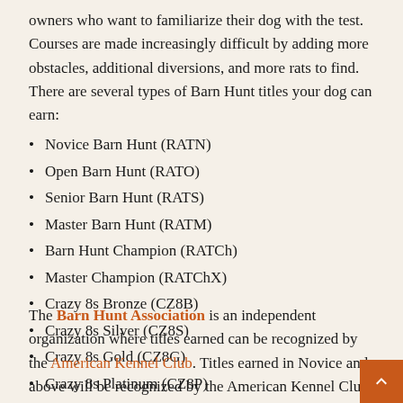owners who want to familiarize their dog with the test. Courses are made increasingly difficult by adding more obstacles, additional diversions, and more rats to find. There are several types of Barn Hunt titles your dog can earn:
Novice Barn Hunt (RATN)
Open Barn Hunt (RATO)
Senior Barn Hunt (RATS)
Master Barn Hunt (RATM)
Barn Hunt Champion (RATCh)
Master Champion (RATChX)
Crazy 8s Bronze (CZ8B)
Crazy 8s Silver (CZ8S)
Crazy 8s Gold (CZ8G)
Crazy 8s Platinum (CZ8P)
The Barn Hunt Association is an independent organization where titles earned can be recognized by the American Kennel Club. Titles earned in Novice and above will be recognized by the American Kennel Club.